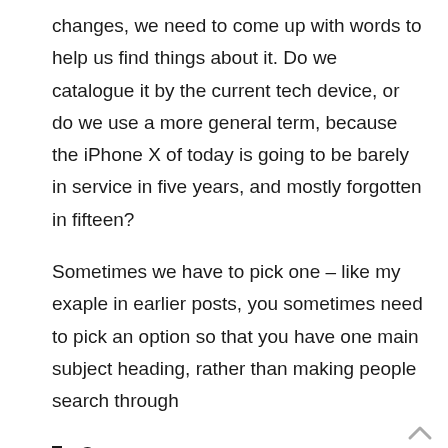changes, we need to come up with words to help us find things about it. Do we catalogue it by the current tech device, or do we use a more general term, because the iPhone X of today is going to be barely in service in five years, and mostly forgotten in fifteen?
Sometimes we have to pick one – like my exaple in earlier posts, you sometimes need to pick an option so that you have one main subject heading, rather than making people search through
Cat
Cats
Felines